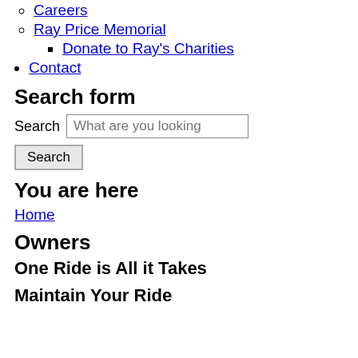Careers
Ray Price Memorial
Donate to Ray's Charities
Contact
Search form
Search [What are you looking for?] [Search button]
You are here
Home
Owners
One Ride is All it Takes
Maintain Your Ride